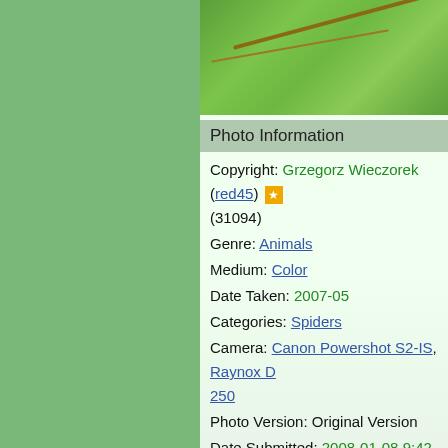[Figure (photo): Close-up macro photograph of a green leaf with brown veins, shown against a black border, cropped at top of frame.]
Photo Information
Copyright: Grzegorz Wieczorek (red45) ★ (31094)
Genre: Animals
Medium: Color
Date Taken: 2007-05
Categories: Spiders
Camera: Canon Powershot S2-IS, Raynox D 250
Photo Version: Original Version
Date Submitted: 2008-01-08 9:42
Viewed: 4251
Points: 10